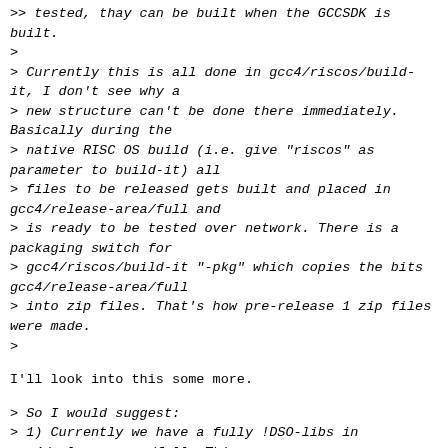>> tested, thay can be built when the GCCSDK is built.
>
> Currently this is all done in gcc4/riscos/build-it, I don't see why a
> new structure can't be done there immediately. Basically during the
> native RISC OS build (i.e. give "riscos" as parameter to build-it) all
> files to be released gets built and placed in gcc4/release-area/full and
> is ready to be tested over network. There is a packaging switch for
> gcc4/riscos/build-it "-pkg" which copies the bits gcc4/release-area/full
> into zip files. That's how pre-release 1 zip files were made.
>
I'll look into this some more.
> So I would suggest:
> 1) Currently we have a fully !DSO-libs in gcc4/release-area/full. This
> could be split into !ELFLoader and !SharedLib. The former containing
> the SOManager ELF loader and only dependency for static ELF binaries.
> The latter holding all shared libraries we currently have in GCCSDK and
> this will be an additional dependency for the shared